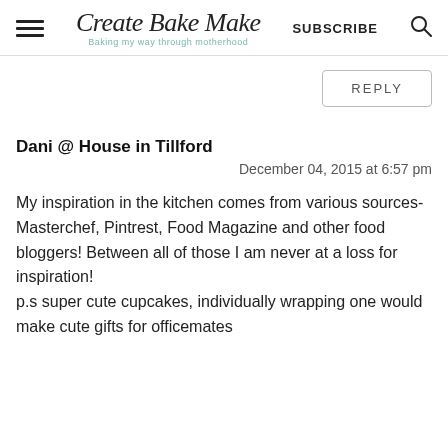Create Bake Make — Baking my way through motherhood — SUBSCRIBE
REPLY
Dani @ House in Tillford
December 04, 2015 at 6:57 pm
My inspiration in the kitchen comes from various sources- Masterchef, Pintrest, Food Magazine and other food bloggers! Between all of those I am never at a loss for inspiration!
p.s super cute cupcakes, individually wrapping one would make cute gifts for officemates